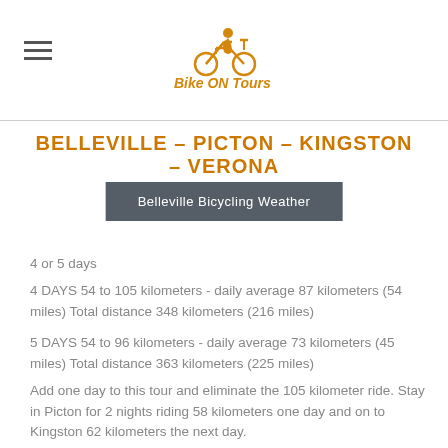Bike ON Tours logo and navigation
BELLEVILLE - PICTON - KINGSTON - VERONA
Belleville Bicycling Weather
4 or 5 days
4 DAYS  54 to 105 kilometers - daily average 87 kilometers (54 miles)  Total distance 348 kilometers (216 miles)
5 DAYS  54 to 96 kilometers - daily average 73 kilometers (45 miles) Total distance 363 kilometers (225 miles)
Add one day to this tour and eliminate the 105 kilometer ride. Stay in Picton for 2 nights riding 58 kilometers one day and on to Kingston 62 kilometers the next day.
Flat to rolling, easy to moderate  Loop route.
Millennium Trail, Waterfront Trail, K&P Trail, Glenora Ferry